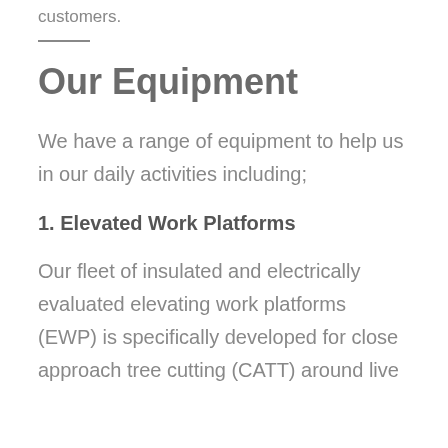customers.
Our Equipment
We have a range of equipment to help us in our daily activities including;
1. Elevated Work Platforms
Our fleet of insulated and electrically evaluated elevating work platforms (EWP) is specifically developed for close approach tree cutting (CATT) around live